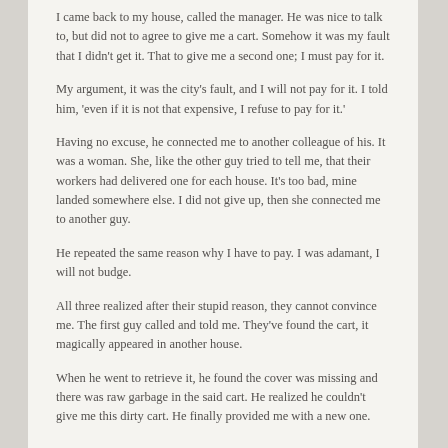I came back to my house, called the manager. He was nice to talk to, but did not to agree to give me a cart. Somehow it was my fault that I didn't get it. That to give me a second one; I must pay for it.
My argument, it was the city's fault, and I will not pay for it. I told him, 'even if it is not that expensive, I refuse to pay for it.'
Having no excuse, he connected me to another colleague of his. It was a woman. She, like the other guy tried to tell me, that their workers had delivered one for each house. It's too bad, mine landed somewhere else. I did not give up, then she connected me to another guy.
He repeated the same reason why I have to pay. I was adamant, I will not budge.
All three realized after their stupid reason, they cannot convince me. The first guy called and told me. They've found the cart, it magically appeared in another house.
When he went to retrieve it, he found the cover was missing and there was raw garbage in the said cart. He realized he couldn't give me this dirty cart. He finally provided me with a new one.
,,,,,,,,,,,,,,,,,,,,,,,,,,,,,,,,,,,,,,,,,,,,,,,,,,,,